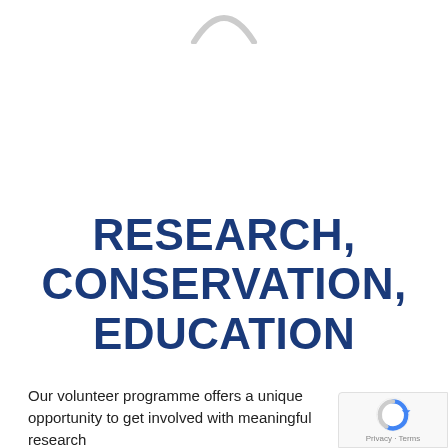[Figure (logo): Partial arc/logo graphic at top center of page, light gray, partially cropped]
RESEARCH, CONSERVATION, EDUCATION
Our volunteer programme offers a unique opportunity to get involved with meaningful research